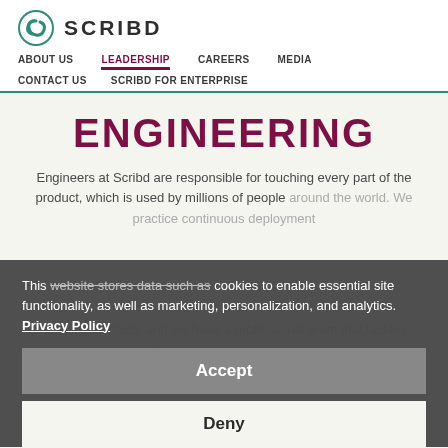[Figure (logo): Scribd logo with teal circular icon and bold SCRIBD text]
ABOUT US   LEADERSHIP   CAREERS   MEDIA   CONTACT US   SCRIBD FOR ENTERPRISE
ENGINEERING
Engineers at Scribd are responsible for touching every part of the product, which is used by millions of people around the world. We practice continuous deployment and existing products, and we have a professional team that tackles challenges in user experience, recommendation algorithms, payments, and growth.
This website stores data such as cookies to enable essential site functionality, as well as marketing, personalization, and analytics. Privacy Policy
Accept
Deny
If you're a talented team player and want to work somewhere where your input matters, we'd love to talk